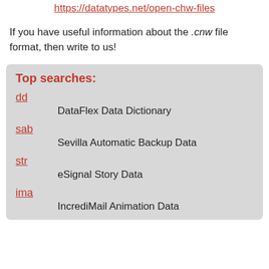https://datatypes.net/open-chw-files
If you have useful information about the .cnw file format, then write to us!
Top searches:
dd — DataFlex Data Dictionary
sab — Sevilla Automatic Backup Data
str — eSignal Story Data
ima — IncrediMail Animation Data